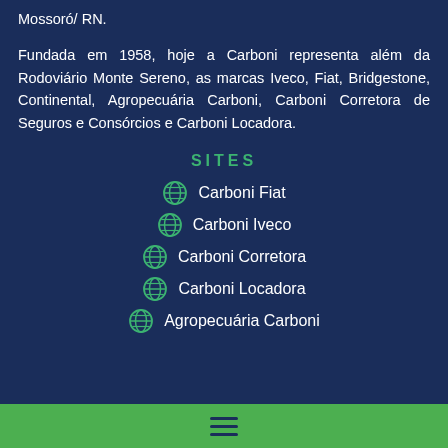Mossoró/ RN.
Fundada em 1958, hoje a Carboni representa além da Rodoviário Monte Sereno, as marcas Iveco, Fiat, Bridgestone, Continental, Agropecuária Carboni, Carboni Corretora de Seguros e Consórcios e Carboni Locadora.
SITES
Carboni Fiat
Carboni Iveco
Carboni Corretora
Carboni Locadora
Agropecuária Carboni